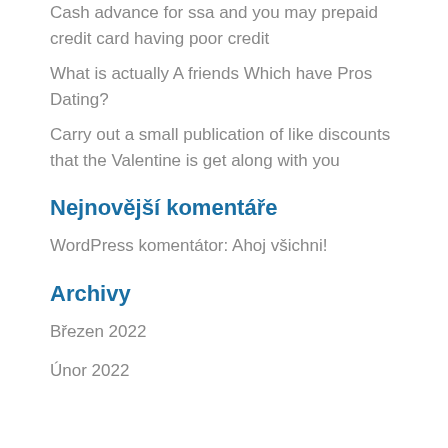Cash advance for ssa and you may prepaid credit card having poor credit
What is actually A friends Which have Pros Dating?
Carry out a small publication of like discounts that the Valentine is get along with you
Nejnovější komentáře
WordPress komentátor: Ahoj všichni!
Archivy
Březen 2022
Únor 2022